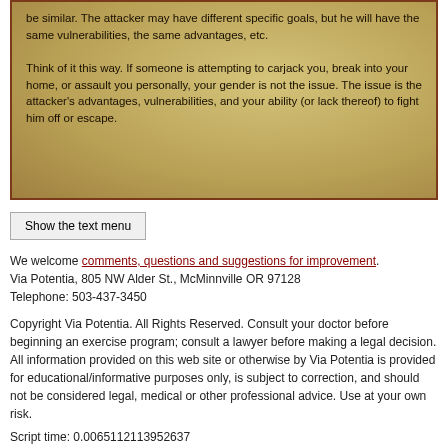be similar. The attacker may have different specific goals, but he will have the same vulnerabilities, the same advantages, etc.

Think of it this way. If someone is attempting to carjack you, break into your home, or assault you personally, your gender is not the issue. The issue is the attacker's advantages, vulnerabilities, and your ability (or lack thereof) to fight him off or escape.
Show the text menu
We welcome comments, questions and suggestions for improvement. Via Potentia, 805 NW Alder St., McMinnville OR 97128 Telephone: 503-437-3450
Copyright Via Potentia. All Rights Reserved. Consult your doctor before beginning an exercise program; consult a lawyer before making a legal decision. All information provided on this web site or otherwise by Via Potentia is provided for educational/informative purposes only, is subject to correction, and should not be considered legal, medical or other professional advice. Use at your own risk.
Script time: 0.0065112113952637